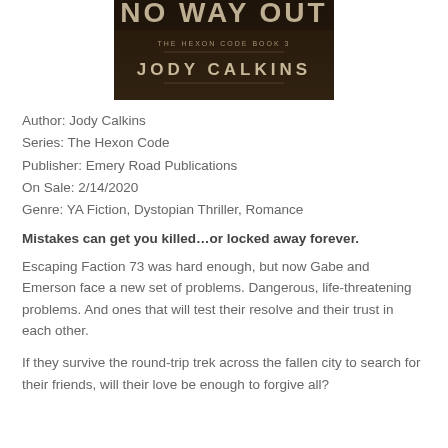[Figure (illustration): Book cover image for 'No Way Out', The Hexon Code Book 3 by Jody Calkins. Dark textured background with the title in large distressed lettering at the top, subtitle text 'THE HEXON CODE BOOK 3' in the middle, and author name 'JODY CALKINS' in large letters below.]
Author: Jody Calkins
Series: The Hexon Code
Publisher: Emery Road Publications
On Sale: 2/14/2020
Genre: YA Fiction, Dystopian Thriller, Romance
Mistakes can get you killed…or locked away forever.
Escaping Faction 73 was hard enough, but now Gabe and Emerson face a new set of problems. Dangerous, life-threatening problems. And ones that will test their resolve and their trust in each other.
If they survive the round-trip trek across the fallen city to search for their friends, will their love be enough to forgive all?